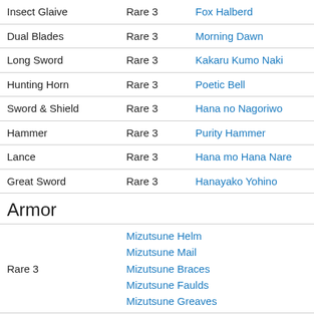| Weapon Type | Rarity | Name |
| --- | --- | --- |
| Insect Glaive | Rare 3 | Fox Halberd |
| Dual Blades | Rare 3 | Morning Dawn |
| Long Sword | Rare 3 | Kakaru Kumo Naki |
| Hunting Horn | Rare 3 | Poetic Bell |
| Sword & Shield | Rare 3 | Hana no Nagoriwo |
| Hammer | Rare 3 | Purity Hammer |
| Lance | Rare 3 | Hana mo Hana Nare |
| Great Sword | Rare 3 | Hanayako Yohino |
Armor
| Rarity | Name |
| --- | --- |
| Rare 3 | Mizutsune Helm
Mizutsune Mail
Mizutsune Braces
Mizutsune Faulds
Mizutsune Greaves |
|  | Mizutsune Mask
Mizutsune Vest |